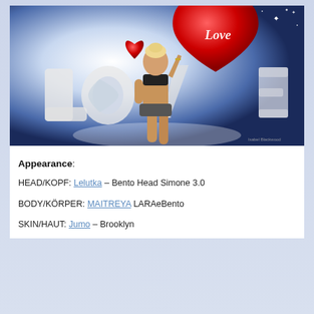[Figure (photo): A Second Life virtual avatar (blonde female) posing in front of large 3D 'love' letters and a big red heart balloon with cursive 'Love' text, against a blue starry background.]
Appearance:
HEAD/KOPF: Lelutka – Bento Head Simone 3.0
BODY/KÖRPER: MAITREYA LARAeBento
SKIN/HAUT: Jumo – Brooklyn